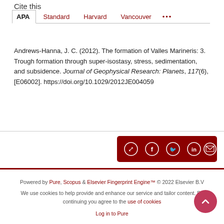Cite this
APA  Standard  Harvard  Vancouver  •••
Andrews-Hanna, J. C. (2012). The formation of Valles Marineris: 3. Trough formation through super-isostasy, stress, sedimentation, and subsidence. Journal of Geophysical Research: Planets, 117(6), [E06002]. https://doi.org/10.1029/2012JE004059
[Figure (other): Share bar with social media icons: share, Facebook, Twitter, LinkedIn, email]
Powered by Pure, Scopus & Elsevier Fingerprint Engine™ © 2022 Elsevier B.V
We use cookies to help provide and enhance our service and tailor content. By continuing you agree to the use of cookies
Log in to Pure